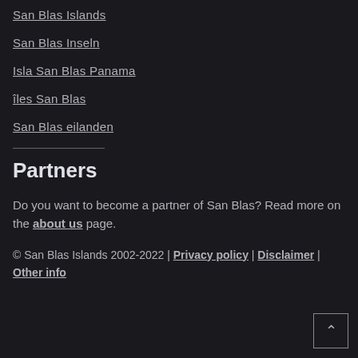San Blas Islands
San Blas Inseln
Isla San Blas Panama
îles San Blas
San Blas eilanden
Partners
Do you want to become a partner of San Blas? Read more on the about us page.
© San Blas Islands 2002-2022 | Privacy policy | Disclaimer | Other info